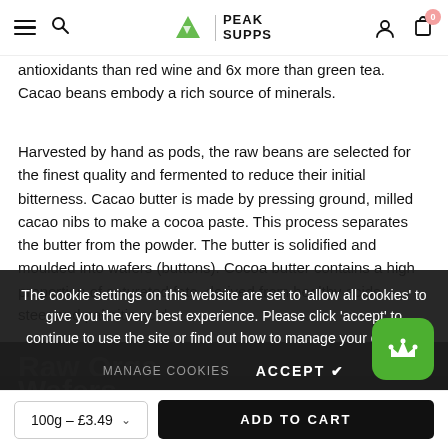Peak Supps — navigation header with hamburger menu, search, logo, account and cart icons
antioxidants than red wine and 6x more than green tea. Cacao beans embody a rich source of minerals.
Harvested by hand as pods, the raw beans are selected for the finest quality and fermented to reduce their initial bitterness. Cacao butter is made by pressing ground, milled cacao nibs to make a cocoa paste. This process separates the butter from the powder. The butter is solidified and moulded into wafers (buttons). Cocoa butter contains a high proportion of saturated fats, derived from healthy acids – steer and palmitic acid.
The cookie settings on this website are set to 'allow all cookies' to give you the very best experience. Please click 'accept' to continue to use the site or find out how to manage your cookies.
MANAGE COOKIES   ACCEPT ✔